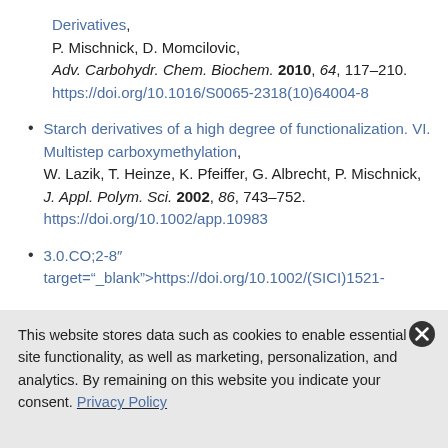Derivatives, P. Mischnick, D. Momcilovic, Adv. Carbohydr. Chem. Biochem. 2010, 64, 117–210. https://doi.org/10.1016/S0065-2318(10)64004-8
Starch derivatives of a high degree of functionalization. VI. Multistep carboxymethylation, W. Lazik, T. Heinze, K. Pfeiffer, G. Albrecht, P. Mischnick, J. Appl. Polym. Sci. 2002, 86, 743–752. https://doi.org/10.1002/app.10983
3.0.CO;2-8" target="_blank">https://doi.org/10.1002/(SICI)1521-
This website stores data such as cookies to enable essential site functionality, as well as marketing, personalization, and analytics. By remaining on this website you indicate your consent. Privacy Policy